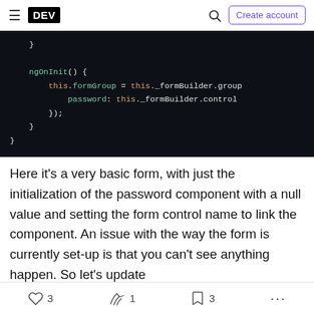DEV — Create account
[Figure (screenshot): Code block showing ngOnInit() function with formGroup and formBuilder initialization in TypeScript/Angular]
Here it's a very basic form, with just the initialization of the password component with a null value and setting the form control name to link the component. An issue with the way the form is currently set-up is that you can't see anything happen. So let's update
3 likes, 1 unicorn, 3 saves